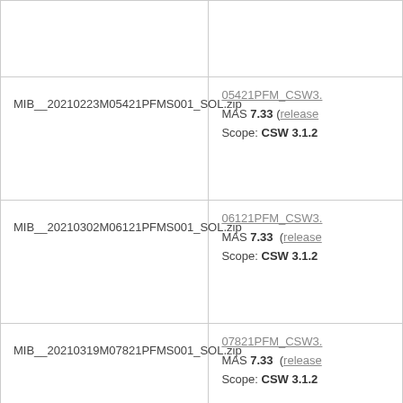| File | Details |
| --- | --- |
|  |  |
| MIB__20210223M05421PFMS001_SOL.zip | 05421PFM_CSW3.
MAS 7.33 (release
Scope: CSW 3.1.2 |
| MIB__20210302M06121PFMS001_SOL.zip | 06121PFM_CSW3.
MAS 7.33 (release
Scope: CSW 3.1.2 |
| MIB__20210319M07821PFMS001_SOL.zip | 07821PFM_CSW3.
MAS 7.33 (release
Scope: CSW 3.1.2 |
| MIB__20210330M08921PFMS001_SOL | 08921PFM_CSW3. |